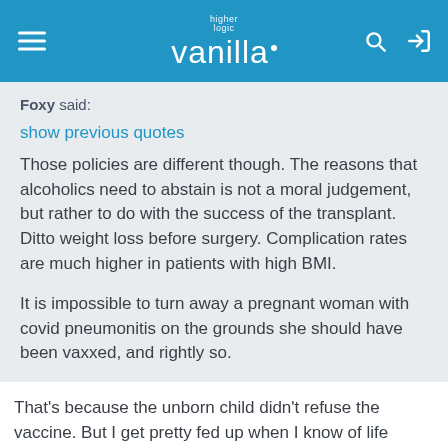higher logic vanilla
Foxy said:
show previous quotes
Those policies are different though. The reasons that alcoholics need to abstain is not a moral judgement, but rather to do with the success of the transplant. Ditto weight loss before surgery. Complication rates are much higher in patients with high BMI.

It is impossible to turn away a pregnant woman with covid pneumonitis on the grounds she should have been vaxxed, and rightly so.
That's because the unborn child didn't refuse the vaccine. But I get pretty fed up when I know of life saving surgery being continually delayed, in large part right now because of anti vaxxer bed blockers.